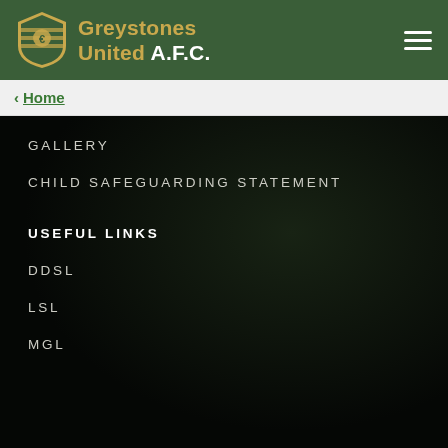Greystones United A.F.C.
< Home
GALLERY
CHILD SAFEGUARDING STATEMENT
USEFUL LINKS
DDSL
LSL
MGL